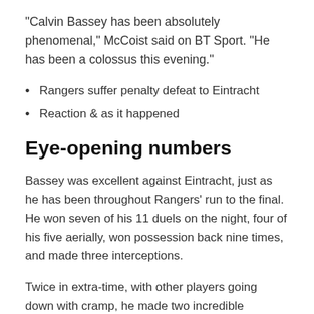"Calvin Bassey has been absolutely phenomenal," McCoist said on BT Sport. "He has been a colossus this evening."
Rangers suffer penalty defeat to Eintracht
Reaction & as it happened
Eye-opening numbers
Bassey was excellent against Eintracht, just as he has been throughout Rangers' run to the final. He won seven of his 11 duels on the night, four of his five aerially, won possession back nine times, and made three interceptions.
Twice in extra-time, with other players going down with cramp, he made two incredible recovery runs. First, after losing his footing he hared back to make a crucial tackle to stop a close-range shot.
Then a few minutes later, he chased down Ansgar Knauff and